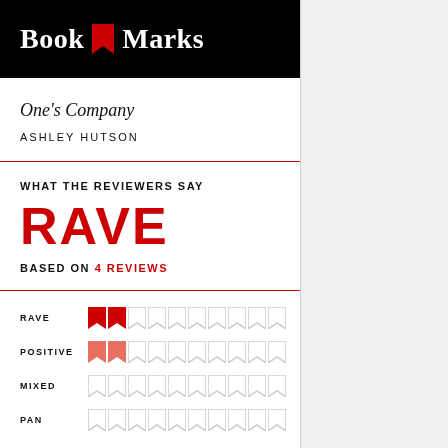Book Marks
One's Company
ASHLEY HUTSON
WHAT THE REVIEWERS SAY
RAVE
BASED ON 4 REVIEWS
[Figure (infographic): Rating breakdown with bookmark icons: RAVE=2 filled red, POSITIVE=2 filled salmon, MIXED=0, PAN=0, each out of 10 total icon slots]
RAVE
POSITIVE
MIXED
PAN